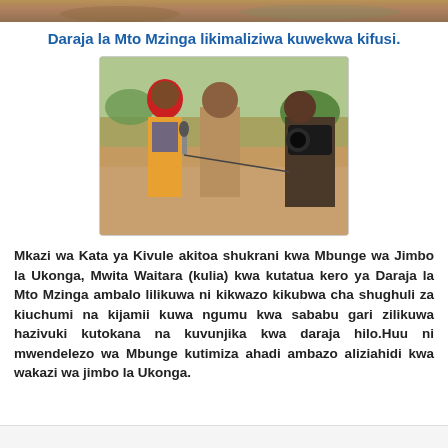[Figure (photo): A strip of a photo showing a construction site/bridge area with sandy terrain.]
Daraja la Mto Mzinga likimaliziwa kuwekwa kifusi.
[Figure (photo): A woman in a red headscarf and colorful dress being interviewed with a microphone by a journalist, with a man in a khaki uniform standing in the background and a photographer holding a camera on the right, at an outdoor construction/bridge site.]
Mkazi wa Kata ya Kivule akitoa shukrani kwa Mbunge wa Jimbo la Ukonga, Mwita Waitara (kulia) kwa kutatua kero ya Daraja la Mto Mzinga ambalo lilikuwa ni kikwazo kikubwa cha shughuli za kiuchumi na kijamii kuwa ngumu kwa sababu gari zilikuwa hazivuki kutokana na kuvunjika kwa daraja hilo.Huu ni mwendelezo wa Mbunge kutimiza ahadi ambazo aliziahidi kwa wakazi wa jimbo la Ukonga.